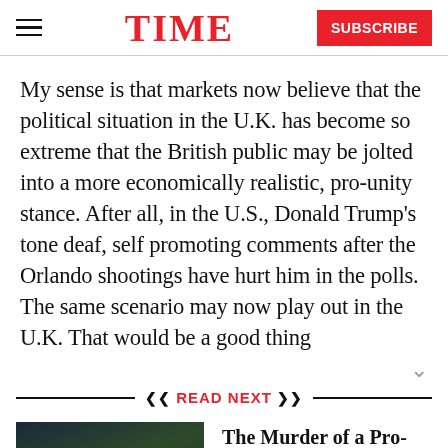TIME | SUBSCRIBE
My sense is that markets now believe that the political situation in the U.K. has become so extreme that the British public may be jolted into a more economically realistic, pro-unity stance. After all, in the U.S., Donald Trump’s tone deaf, self promoting comments after the Orlando shootings have hurt him in the polls. The same scenario may now play out in the U.K. That would be a good thing
READ NEXT
[Figure (photo): Evening candlelight vigil scene, dark outdoor setting with people gathered]
The Murder of a Pro-E.U. MP Is One More Sign of a Darkening Europe